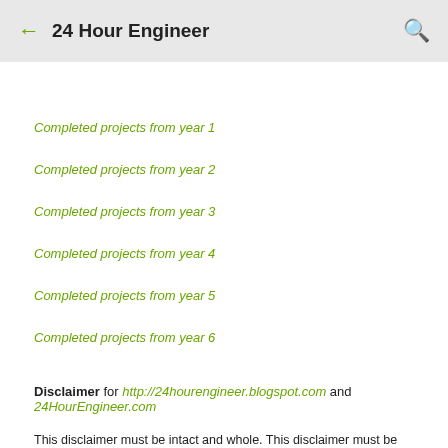← 24 Hour Engineer 🔍
Completed projects from year 1
Completed projects from year 2
Completed projects from year 3
Completed projects from year 4
Completed projects from year 5
Completed projects from year 6
Disclaimer for http://24hourengineer.blogspot.com and 24HourEngineer.com
This disclaimer must be intact and whole. This disclaimer must be included if a project is